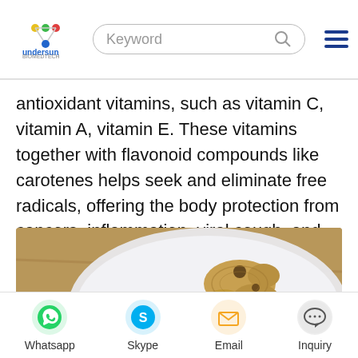Undersun Biomedtech (logo) | Keyword search bar | Menu
antioxidant vitamins, such as vitamin C, vitamin A, vitamin E. These vitamins together with flavonoid compounds like carotenes helps seek and eliminate free radicals, offering the body protection from cancers, inflammation, viral cough, and the common cold.
[Figure (photo): Photo of ginger root pieces on a white plate on a wooden surface]
Whatsapp | Skype | Email | Inquiry